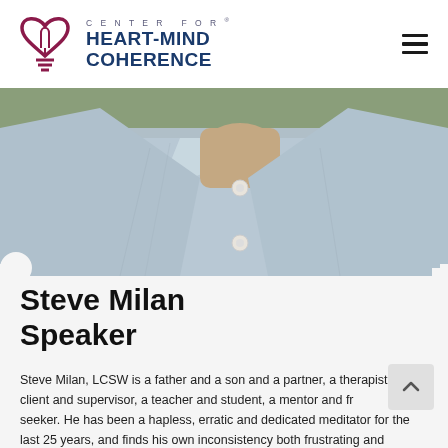CENTER FOR HEART-MIND COHERENCE
[Figure (photo): Close-up photo of a person wearing a light blue button-up shirt, showing the collar and chest area with two visible buttons]
Steve Milan
Speaker
Steve Milan, LCSW is a father and a son and a partner, a therapist and client and supervisor, a teacher and student, a mentor and friend, and seeker. He has been a hapless, erratic and dedicated meditator for the last 25 years, and finds his own inconsistency both frustrating and